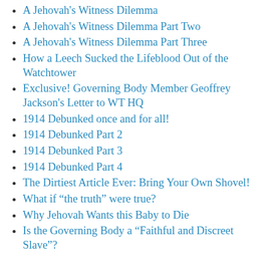A Jehovah's Witness Dilemma
A Jehovah's Witness Dilemma Part Two
A Jehovah's Witness Dilemma Part Three
How a Leech Sucked the Lifeblood Out of the Watchtower
Exclusive! Governing Body Member Geoffrey Jackson's Letter to WT HQ
1914 Debunked once and for all!
1914 Debunked Part 2
1914 Debunked Part 3
1914 Debunked Part 4
The Dirtiest Article Ever: Bring Your Own Shovel!
What if “the truth” were true?
Why Jehovah Wants this Baby to Die
Is the Governing Body a “Faithful and Discreet Slave”?